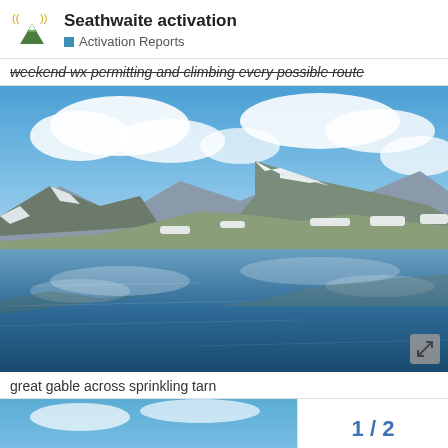Seathwaite activation — Activation Reports
weekend wx permitting and climbing every possible route
[Figure (photo): Mountain landscape with snow-capped peaks reflected in a still tarn (lake) under a blue sky with clouds. Great Gable across Sprinkling Tarn.]
great gable across sprinkling tarn
[Figure (photo): Partial view of next photo thumbnail (blue/sky tones)]
1 / 2